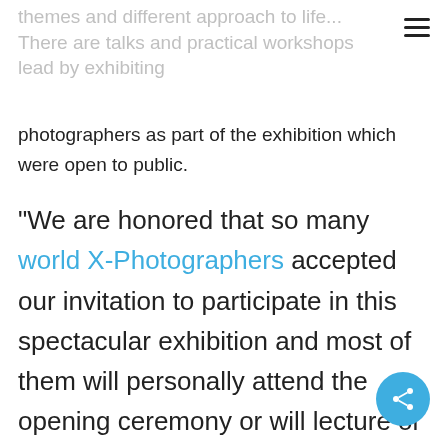themes and different approach to life... There are talks and practical workshops lead by exhibiting photographers as part of the exhibition which were open to public.
"We are honored that so many world X-Photographers accepted our invitation to participate in this spectacular exhibition and most of them will personally attend the opening ceremony or will lecture or lead workshops during the exhibition. We are glad, that we